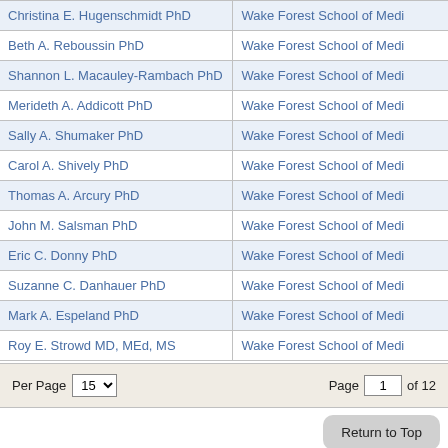| Name | Institution |
| --- | --- |
| Christina E. Hugenschmidt PhD | Wake Forest School of Medi... |
| Beth A. Reboussin PhD | Wake Forest School of Medi... |
| Shannon L. Macauley-Rambach PhD | Wake Forest School of Medi... |
| Merideth A. Addicott PhD | Wake Forest School of Medi... |
| Sally A. Shumaker PhD | Wake Forest School of Medi... |
| Carol A. Shively PhD | Wake Forest School of Medi... |
| Thomas A. Arcury PhD | Wake Forest School of Medi... |
| John M. Salsman PhD | Wake Forest School of Medi... |
| Eric C. Donny PhD | Wake Forest School of Medi... |
| Suzanne C. Danhauer PhD | Wake Forest School of Medi... |
| Mark A. Espeland PhD | Wake Forest School of Medi... |
| Roy E. Strowd MD, MEd, MS | Wake Forest School of Medi... |
Per Page 15 | Page 1 of 12
Return to Top